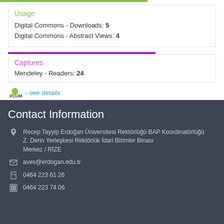Usage
Digital Commons - Downloads: 5
Digital Commons - Abstract Views: 4
Captures
Mendeley - Readers: 24
[Figure (logo): PlumX logo with text '- see details' link]
Contact Information
Recep Tayyip Erdoğan Üniversitesi Rektörlüğü BAP Koordinatörlüğü
Z. Derin Yerleşkesi Rektörlük İdari Birimler Binası
Merkez / RİZE
aves@erdogan.edu.tr
0464 223 61 26
0464 223 74 06